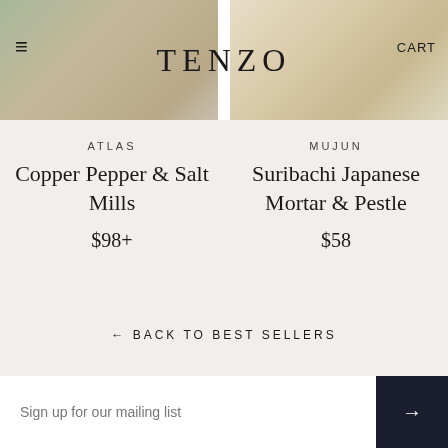[Figure (screenshot): Website header with two product photos side by side and TENZO logo navigation bar overlaid]
ATLAS
Copper Pepper & Salt Mills
$98+
MUJUN
Suribachi Japanese Mortar & Pestle
$58
← BACK TO BEST SELLERS
Sign up for our mailing list